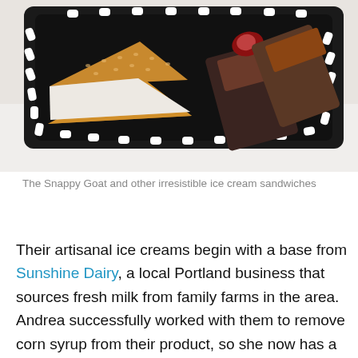[Figure (photo): A black rectangular serving tray with white polka dot border holding ice cream sandwiches, including a triangular sesame-seeded cookie ice cream sandwich (The Snappy Goat) on the left and other ice cream sandwich varieties to the right, photographed against a white background.]
The Snappy Goat and other irresistible ice cream sandwiches
Their artisanal ice creams begin with a base from Sunshine Dairy, a local Portland business that sources fresh milk from family farms in the area. Andrea successfully worked with them to remove corn syrup from their product, so she now has a clean, blank canvas to infuse with her creative flavors. At a recent farmers